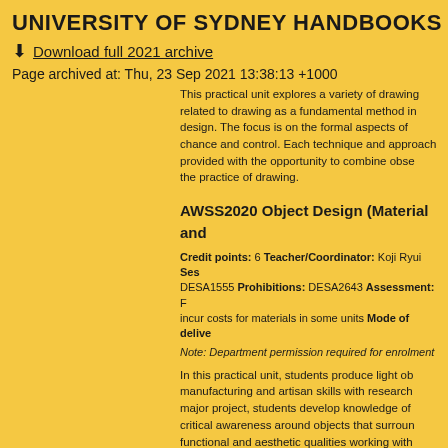UNIVERSITY OF SYDNEY HANDBOOKS - 2021
Download full 2021 archive
Page archived at: Thu, 23 Sep 2021 13:38:13 +1000
This practical unit explores a variety of drawing related to drawing as a fundamental method in design. The focus is on the formal aspects of chance and control. Each technique and approach provided with the opportunity to combine observation the practice of drawing.
AWSS2020 Object Design (Material and
Credit points: 6 Teacher/Coordinator: Koji Ryui Session: DESA1555 Prohibitions: DESA2643 Assessment: incur costs for materials in some units Mode of delivery:
Note: Department permission required for enrolment
In this practical unit, students produce light objects combining manufacturing and artisan skills with research and concept development. In a major project, students develop knowledge of materials and develop a critical awareness around objects that surround us, understanding the functional and aesthetic qualities working with material constraints on the design process and outcome. Sustainability and the environment, and an appreciation of the materiality of objects as an intrinsic quality of their materials. Students are also expected to produce a design journal alongside their final project/s.
AWSS2023 Architectural Photography